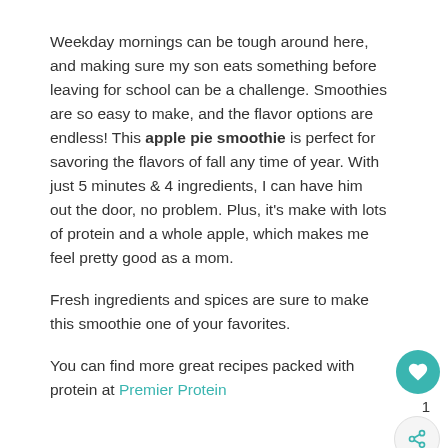Weekday mornings can be tough around here, and making sure my son eats something before leaving for school can be a challenge. Smoothies are so easy to make, and the flavor options are endless! This apple pie smoothie is perfect for savoring the flavors of fall any time of year. With just 5 minutes & 4 ingredients, I can have him out the door, no problem. Plus, it's make with lots of protein and a whole apple, which makes me feel pretty good as a mom.
Fresh ingredients and spices are sure to make this smoothie one of your favorites.
You can find more great recipes packed with protein at Premier Protein